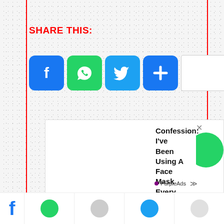SHARE THIS:
[Figure (screenshot): Social sharing buttons: Facebook (blue), WhatsApp (green), Twitter (blue), Plus/More (blue), and a blank white button]
[Figure (screenshot): White article preview box, mostly blank with article title 'What Effect Does Spicy Food Have On']
What Effect Does Spicy Food Have On
[Figure (screenshot): Ad overlay: 'Confession: I've Been Using A Face Mask Every Day. Have A Look' by Herbeauty, with PurpleAds badge, green circle graphic, and close X button]
[Figure (screenshot): Bottom bar with Facebook icon and row of social sharing icons]